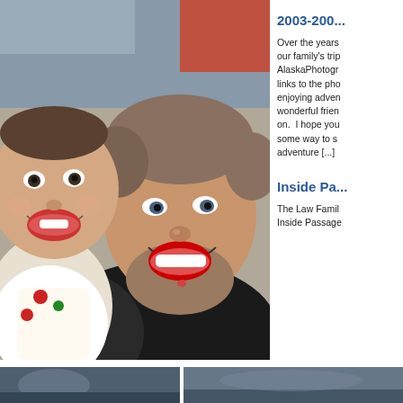[Figure (photo): A smiling man with a beard holding a happy baby dressed in a Christmas outfit. The photo is a close-up selfie-style shot with both faces prominently featured and smiling broadly.]
2003-200...
Over the years our family's trip AlaskaPhotogr links to the pho enjoying adven wonderful frien on.  I hope you some way to s adventure [...]
Inside Pa...
The Law Famil Inside Passage
[Figure (photo): Bottom strip showing two partial photos side by side with a white divider line between them - outdoor/nature scenes.]